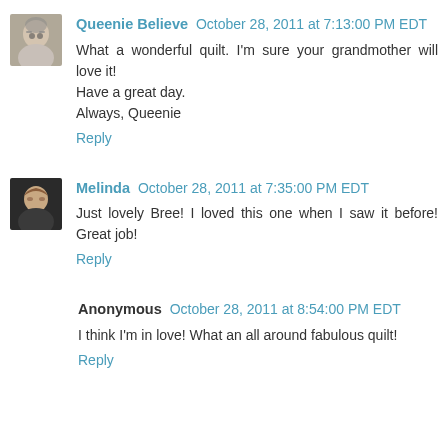[Figure (photo): Avatar photo of Queenie Believe, showing a person with glasses]
Queenie Believe October 28, 2011 at 7:13:00 PM EDT
What a wonderful quilt. I'm sure your grandmother will love it!
Have a great day.
Always, Queenie
Reply
[Figure (photo): Avatar photo of Melinda, a woman with curly hair]
Melinda October 28, 2011 at 7:35:00 PM EDT
Just lovely Bree! I loved this one when I saw it before! Great job!
Reply
Anonymous October 28, 2011 at 8:54:00 PM EDT
I think I'm in love! What an all around fabulous quilt!
Reply